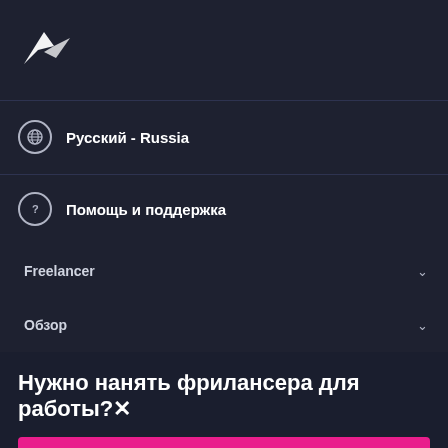[Figure (logo): Freelancer.com logo icon (stylized bird/boomerang shape in white) on dark background]
Русский - Russia
Помощь и поддержка
Freelancer
Обзор
Нужно нанять фрилансера для работы?×
Опубликовать проект